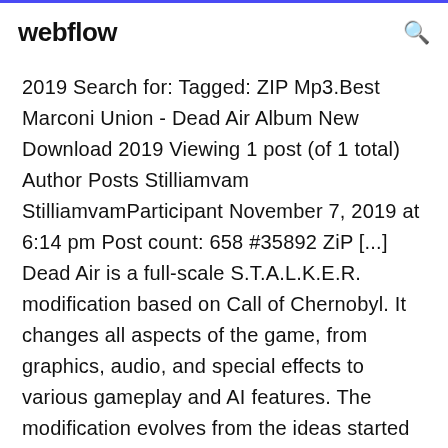webflow
2019 Search for: Tagged: ZIP Mp3.Best Marconi Union - Dead Air Album New Download 2019 Viewing 1 post (of 1 total) Author Posts Stilliamvam StilliamvamParticipant November 7, 2019 at 6:14 pm Post count: 658 #35892 ZiP [...] Dead Air is a full-scale S.T.A.L.K.E.R. modification based on Call of Chernobyl. It changes all aspects of the game, from graphics, audio, and special effects to various gameplay and AI features. The modification evolves from the ideas started in Call of Misery, a previous project from the mod's author. Major inspirations for Dead Air have Installed some custom weapon sounds, but weapon sounds